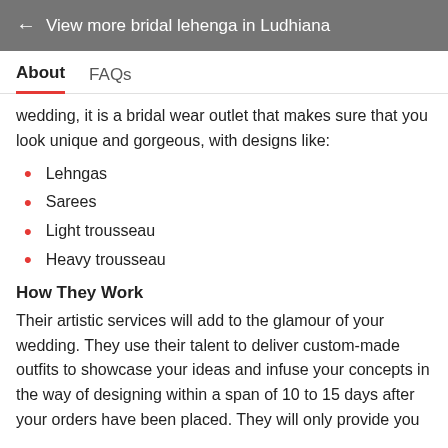← View more bridal lehenga in Ludhiana
About   FAQs
wedding, it is a bridal wear outlet that makes sure that you look unique and gorgeous, with designs like:
Lehngas
Sarees
Light trousseau
Heavy trousseau
How They Work
Their artistic services will add to the glamour of your wedding. They use their talent to deliver custom-made outfits to showcase your ideas and infuse your concepts in the way of designing within a span of 10 to 15 days after your orders have been placed. They will only provide you